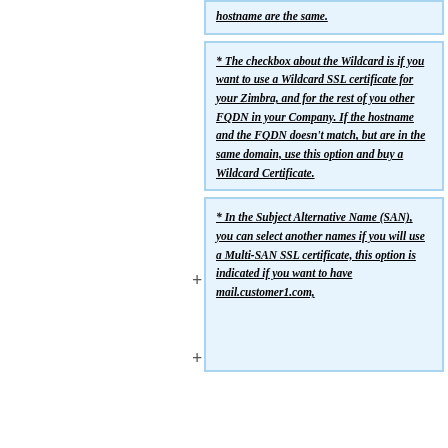hostname are the same.
* The checkbox about the Wildcard is if you want to use a Wildcard SSL certificate for your Zimbra, and for the rest of you other FQDN in your Company. If the hostname and the FQDN doesn't match, but are in the same domain, use this option and buy a Wildcard Certificate.
* In the Subject Alternative Name (SAN), you can select another names if you will use a Multi-SAN SSL certificate, this option is indicated if you want to have mail.customer1.com,